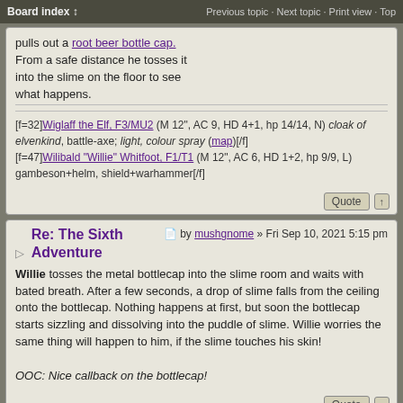Board index ↕ | Previous topic · Next topic · Print view · Top
pulls out a root beer bottle cap. From a safe distance he tosses it into the slime on the floor to see what happens.
[f=32]Wiglaff the Elf, F3/MU2 (M 12", AC 9, HD 4+1, hp 14/14, N) cloak of elvenkind, battle-axe; light, colour spray (map)[/f]
[f=47]Wilibald "Willie" Whitfoot, F1/T1 (M 12", AC 6, HD 1+2, hp 9/9, L) gambeson+helm, shield+warhammer[/f]
Re: The Sixth Adventure
by mushgnome » Fri Sep 10, 2021 5:15 pm
Willie tosses the metal bottlecap into the slime room and waits with bated breath. After a few seconds, a drop of slime falls from the ceiling onto the bottlecap. Nothing happens at first, but soon the bottlecap starts sizzling and dissolving into the puddle of slime. Willie worries the same thing will happen to him, if the slime touches his skin!
OOC: Nice callback on the bottlecap!